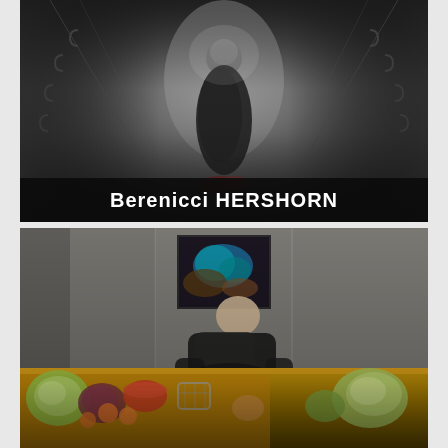[Figure (photo): Dark moody photograph of a figure in a long dark coat standing in a corridor or hallway, with a bright light source behind them and a red accent element at their feet. Black and white/desaturated tones.]
Berenicci HERSHORN
[Figure (photo): Color photograph of a person with short light hair, dressed in black, leaning over a table covered with vegetables (cabbages, oranges, and other produce) and kitchenware. A colorful abstract painting hangs on the wall behind them.]